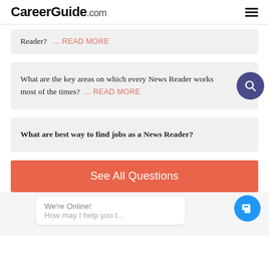CareerGuide.com
Reader?   ... READ MORE
What are the key areas on which every News Reader works most of the times?   ... READ MORE
What are best way to find jobs as a News Reader?
See All Questions
We're Online! How may I help you t...